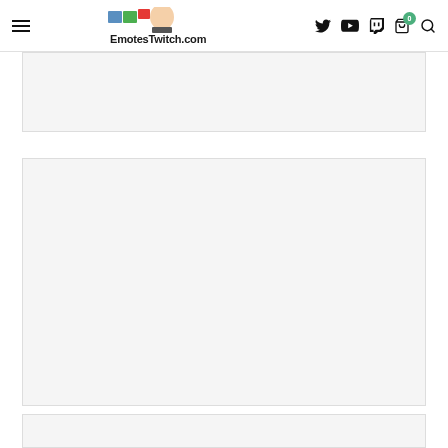EmotesTwitch.com — navigation bar with hamburger menu, logo, Twitter, YouTube, Twitch, cart (0), and search icons
[Figure (screenshot): Top content area placeholder box with light gray background]
[Figure (screenshot): Middle content area placeholder box with light gray background]
[Figure (screenshot): Bottom content area placeholder box with light gray background]